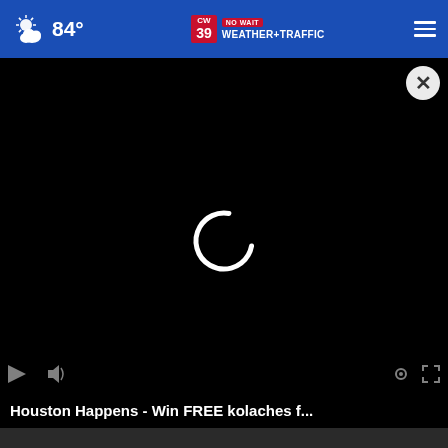84° CW39 NO WAIT WEATHER+TRAFFIC
[Figure (screenshot): Video player on black background showing a loading spinner (circular arc in white) with a close button (X in white circle) in top right corner. Bottom overlay shows video title text.]
Houston Happens - Win FREE kolaches f...